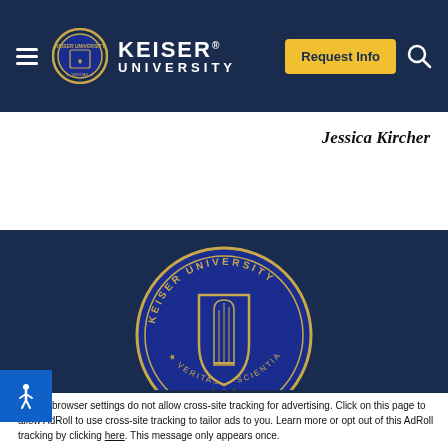KEISER UNIVERSITY — Navigation bar with logo, Request Info button, and search icon
Jessica Kircher
[Figure (logo): Keiser University seal/crest on dark blue background, center of main hero section]
We use cookies to customize content and your site experience, as well as, analyze our traffic, provide social media features and personalize advertising on
Accept and Close
Your browser settings do not allow cross-site tracking for advertising. Click on this page to allow AdRoll to use cross-site tracking to tailor ads to you. Learn more or opt out of this AdRoll tracking by clicking here. This message only appears once.